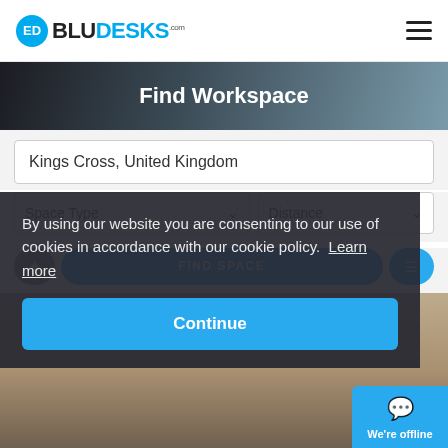[Figure (logo): BluDesks logo with cyan circle icon containing 'ED' and bold text 'BLUDESKS.com']
Find Workspace
Kings Cross, United Kingdom
Space Type
Distance
FIND SPACE
By using our website you are consenting to our use of cookies in accordance with our cookie policy.  Learn more
Continue
We're offline